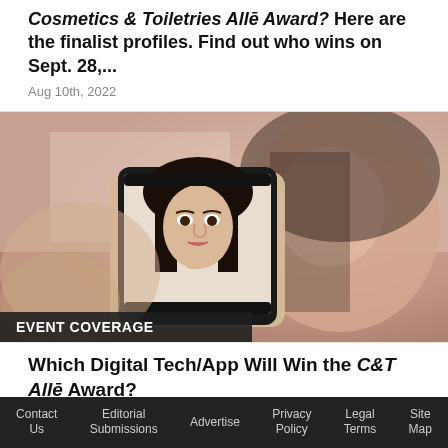Cosmetics & Toiletries Allē Award? Here are the finalist profiles. Find out who wins on Sept. 28,...
Aug 10th, 2022
[Figure (photo): A woman applying makeup while looking at her phone camera, with her face reflected in a phone screen she is holding.]
EVENT COVERAGE
Which Digital Tech/App Will Win the C&T Allē Award?
Contact Us   Editorial Submissions   Advertise   Privacy Policy   Legal Terms   Site Map